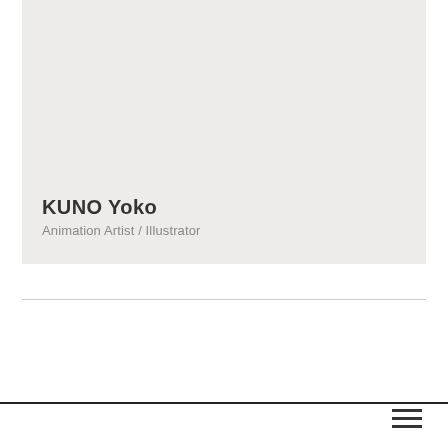[Figure (illustration): Large light gray rectangular hero/banner area at the top of the page]
KUNO Yoko
Animation Artist / Illustrator
[Figure (other): Hamburger menu icon (three horizontal lines) in lower right corner]